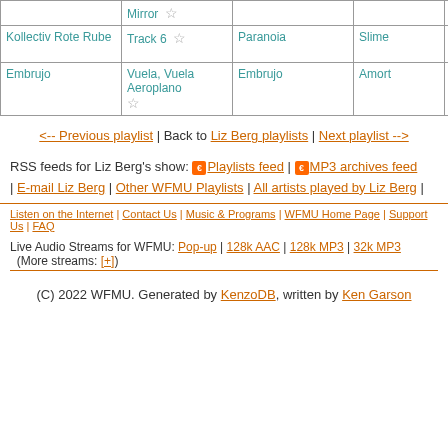| Artist | Track | Album | Label |  | Time |
| --- | --- | --- | --- | --- | --- |
|  | Mirror ☆ |  |  |  | (Pop-... |
| Kollectiv Rote Rube | Track 6 ☆ | Paranoia | Slime |  | 2:52 (Pop-... |
| Embrujo | Vuela, Vuela Aeroplano ☆ | Embrujo | Amort | * | 2:55 (Pop-... |
<-- Previous playlist | Back to Liz Berg playlists | Next playlist -->
RSS feeds for Liz Berg's show: [RSS] Playlists feed | [RSS] MP3 archives feed | E-mail Liz Berg | Other WFMU Playlists | All artists played by Liz Berg |
Listen on the Internet | Contact Us | Music & Programs | WFMU Home Page | Support Us | FAQ
Live Audio Streams for WFMU: Pop-up | 128k AAC | 128k MP3 | 32k MP3  (More streams: [+])
(C) 2022 WFMU. Generated by KenzoDB, written by Ken Garson